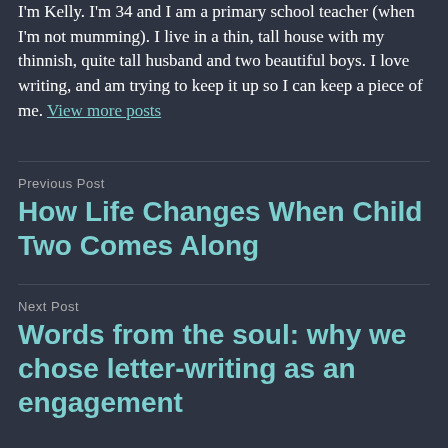I'm Kelly. I'm 34 and I am a primary school teacher (when I'm not mumming). I live in a thin, tall house with my thinnish, quite tall husband and two beautiful boys. I love writing, and am trying to keep it up so I can keep a piece of me. View more posts
Previous Post
How Life Changes When Child Two Comes Along
Next Post
Words from the soul: why we chose letter-writing as an engagement